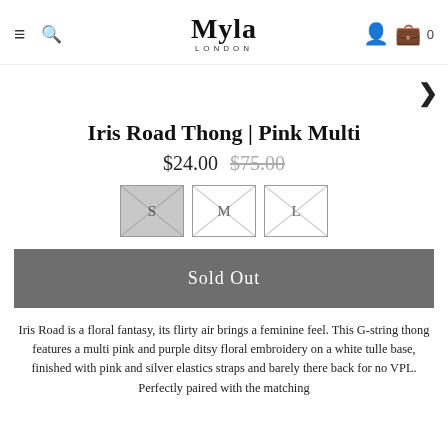Myla LONDON
Iris Road Thong | Pink Multi
$24.00 $75.00
S M L
Sold Out
Iris Road is a floral fantasy, its flirty air brings a feminine feel. This G-string thong features a multi pink and purple ditsy floral embroidery on a white tulle base, finished with pink and silver elastics straps and barely there back for no VPL. Perfectly paired with the matching